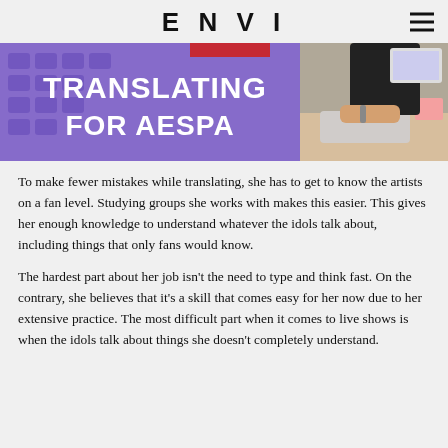ENVI
[Figure (photo): Banner image showing a purple keyboard with white text 'TRANSLATING FOR AESPA' overlaid, alongside a person typing at a keyboard.]
To make fewer mistakes while translating, she has to get to know the artists on a fan level. Studying groups she works with makes this easier. This gives her enough knowledge to understand whatever the idols talk about, including things that only fans would know.
The hardest part about her job isn't the need to type and think fast. On the contrary, she believes that it's a skill that comes easy for her now due to her extensive practice. The most difficult part when it comes to live shows is when the idols talk about things she doesn't completely understand.